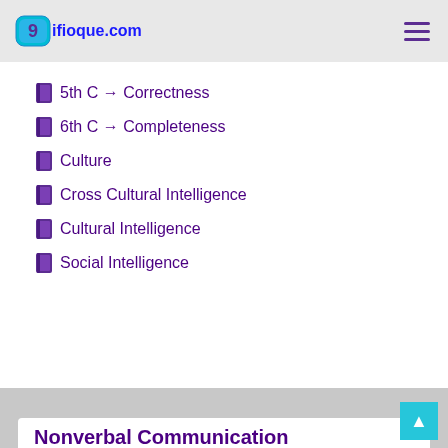9ifioque.com
5th C → Correctness
6th C → Completeness
Culture
Cross Cultural Intelligence
Cultural Intelligence
Social Intelligence
Nonverbal Communication